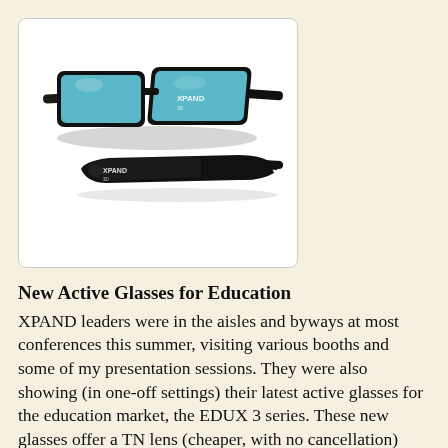[Figure (photo): Two views of XPAND 3D active glasses for education (EDUX 3 series): one showing front perspective with teal/blue lenses and black frames, and one showing side profile view. Both have the XPAND logo on the frames.]
New Active Glasses for Education
XPAND leaders were in the aisles and byways at most conferences this summer, visiting various booths and some of my presentation sessions. They were also showing (in one-off settings) their latest active glasses for the education market, the EDUX 3 series. These new glasses offer a TN lens (cheaper, with no cancellation)